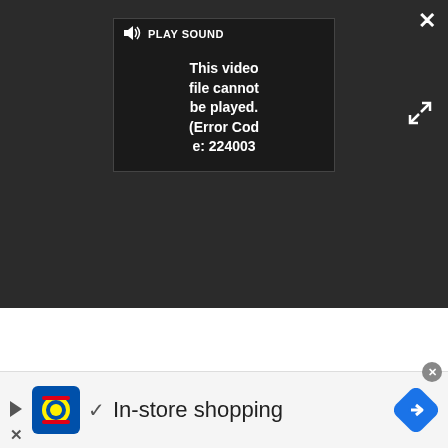[Figure (screenshot): Video player overlay with error message. Shows 'PLAY SOUND' bar at top, error text 'This video file cannot be played. (Error Code: 224003)', close button (X) top right, and expand arrows bottom right.]
Tracking finger movements
As we already saw, the synthetic mouse events dispatched by the browser also include a mousemove event. This will always be just a single mousemove. In fact, if users move their finger over the screen too much, synthetic events will not be fired at all, as the browser interprets the movement as a gesture, such as scrolling. This is a problem if your site relies on interactions involving mouse movements (such as drawing applications or HTML-based games), as
[Figure (screenshot): Advertisement banner for Lidl 'In-store shopping' with Lidl logo, checkmark, navigation icon, play button, and close X.]